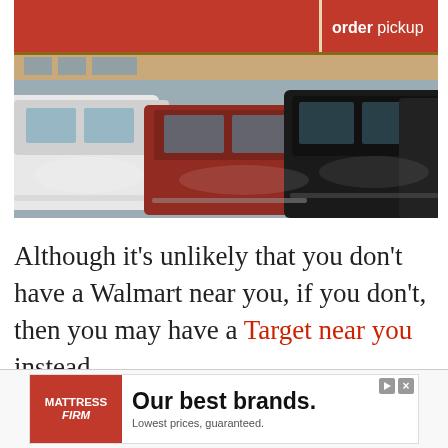[Figure (photo): Photograph of a Target store parking lot with multiple cars lined up, including white SUVs and dark vehicles. The red Target store sign is visible with text 'order pickup' in white on the right side.]
Although it’s unlikely that you don’t have a Walmart near you, if you don’t, then you may have a Target near you instead.
Target is another great place where you can get your quarters.
[Figure (other): Advertisement banner for Mattress Firm: 'Our best brands. Lowest prices, guaranteed.' with red Mattress Firm logo on the left.]
Like                                                                                                    vice